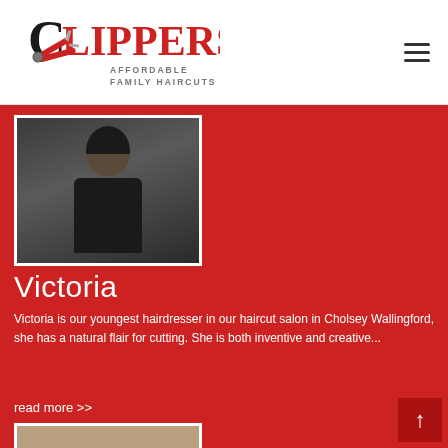[Figure (logo): Clippers Affordable Family Haircuts logo with scissors icon]
[Figure (photo): Portrait photo of Victoria, a hairdresser, wearing dark clothing]
Victoria
Victoria is our youngest hairdresser in our haircut salon in Cholsey Wallingford, she has a natural flair for cutting. She is both inventive and creative...
read more >>
[Figure (photo): Partial photo visible at bottom of page]